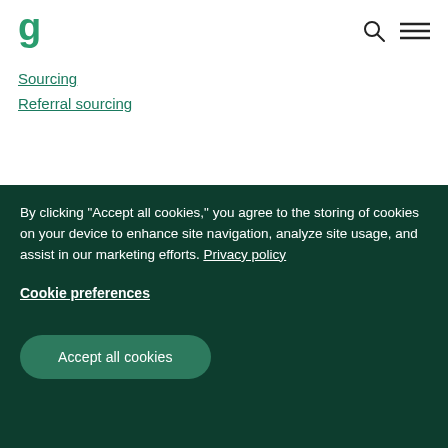Goodreads logo, search icon, menu icon
Sourcing
Referral sourcing
By clicking “Accept all cookies,” you agree to the storing of cookies on your device to enhance site navigation, analyze site usage, and assist in our marketing efforts. Privacy policy
Cookie preferences
Accept all cookies